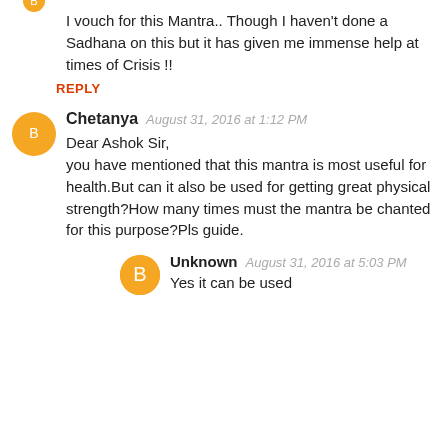I vouch for this Mantra.. Though I haven't done a Sadhana on this but it has given me immense help at times of Crisis !!
REPLY
Chetanya  August 31, 2016 at 1:12 PM
Dear Ashok Sir,
you have mentioned that this mantra is most useful for health.But can it also be used for getting great physical strength?How many times must the mantra be chanted for this purpose?Pls guide.
Unknown  August 31, 2016 at 5:03 PM
Yes it can be used